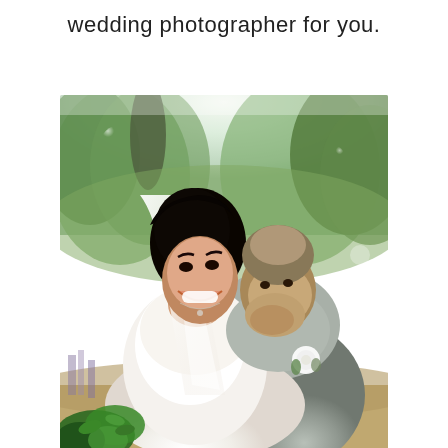wedding photographer for you.
[Figure (photo): Wedding photo of a smiling bride in a white dress and veil with a groom in a grey suit kissing her shoulder, outdoors with green trees in background]